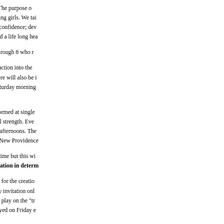Mission: No experience is required! The purpose of enormous benefits of athletics for young girls. We take our program at their own pace. Our program will promote self-confidence; development and improvement, good sportsmanship and a life long healthy lifestyle.
Eligibility: Girls in grades grades 1 through 8 who r...
Introductory Level: This is an introduction into the offensive skills and team offense. There will also be i... will be made to schedule practices Saturday mornings in Providence. Please be flexible!
Travel Teams: Travel teams will be formed at single coaches to put together teams of equal strength. Evenings and Saturday mornings and afternoons. The days. Fields in Berkeley Heights and New Providence.
The JGLA encourages equal playing time but this will level is the least important consideration in determination...
Select Teams: The JGLA has allowed for the creation venue. Placement on these teams is by invitation only participate in "select" games will also play on the "travel" game schedule. At the 7/8 grade level, games will be played on Friday evenings in addition to the "travel" game schedule.
Player Evaluation: Other sport programs typically at least two weeks before placing on a travel and/or select opportunity to play select.